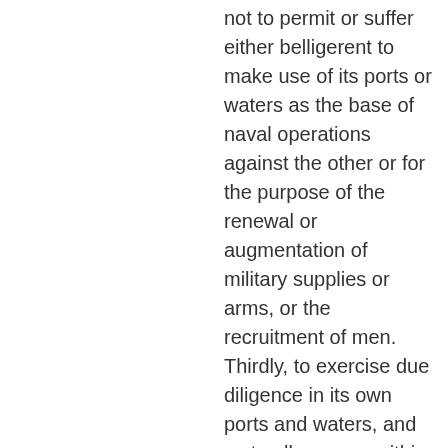not to permit or suffer either belligerent to make use of its ports or waters as the base of naval operations against the other or for the purpose of the renewal or augmentation of military supplies or arms, or the recruitment of men. Thirdly, to exercise due diligence in its own ports and waters, and as to all persons within its jurisdiction, to prevent any violation of the foregoing obligations and duties.
Iekļauts 489 grāmatās, sākot no 1758. līdz 2008.
89. lappuse - It may, in the next place, be asked,